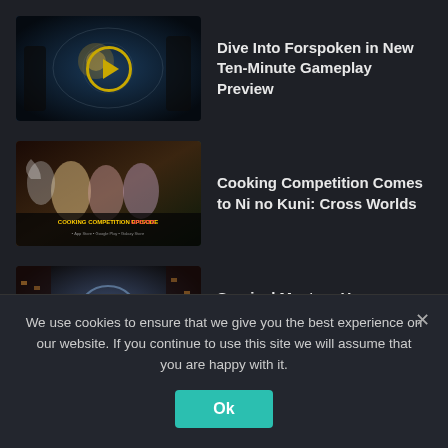[Figure (screenshot): Forspoken gameplay thumbnail with play button]
Dive Into Forspoken in New Ten-Minute Gameplay Preview
[Figure (screenshot): Ni no Kuni: Cross Worlds Cooking Competition Episode Update promotional image]
Cooking Competition Comes to Ni no Kuni: Cross Worlds
[Figure (screenshot): Remorse: The List game thumbnail with play button]
Survival Mystery Horror Remorse: The List Coming to All the consoles this October
We use cookies to ensure that we give you the best experience on our website. If you continue to use this site we will assume that you are happy with it.